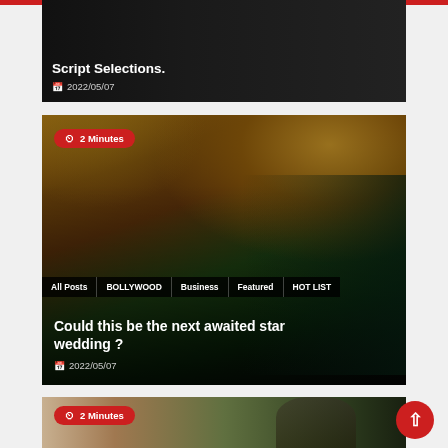[Figure (screenshot): Partial top card showing dark background with text 'Script Selections.' and date 2022/05/07]
Script Selections.
2022/05/07
[Figure (photo): Celebrity couple photo with gold foliage background - Bollywood stars]
2 Minutes
All Posts
BOLLYWOOD
Business
Featured
HOT LIST
Could this be the next awaited star wedding ?
2022/05/07
[Figure (photo): Partial bottom card showing a bearded man outdoors]
2 Minutes